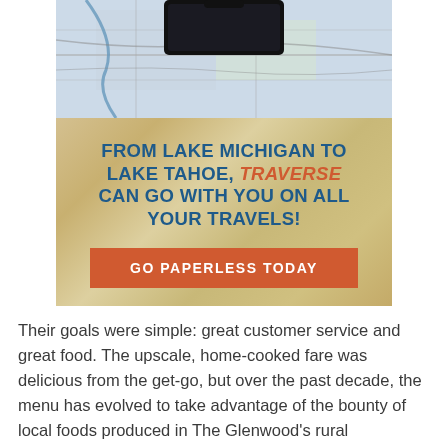[Figure (photo): Advertisement image showing a map with a phone on top, followed by a sandy-textured text area with the headline 'FROM LAKE MICHIGAN TO LAKE TAHOE, TRAVERSE CAN GO WITH YOU ON ALL YOUR TRAVELS!' and a red 'GO PAPERLESS TODAY' button.]
Their goals were simple: great customer service and great food. The upscale, home-cooked fare was delicious from the get-go, but over the past decade, the menu has evolved to take advantage of the bounty of local foods produced in The Glenwood's rural neighborhood. "The cherries come from down the road, we pick our own